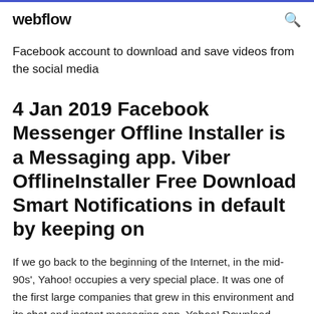webflow
Facebook account to download and save videos from the social media
4 Jan 2019 Facebook Messenger Offline Installer is a Messaging app. Viber OfflineInstaller Free Download Smart Notifications in default by keeping on
If we go back to the beginning of the Internet, in the mid-90s', Yahoo! occupies a very special place. It was one of the first large companies that grew in this environment and its chat and instant messaging app, Yahoo! Download